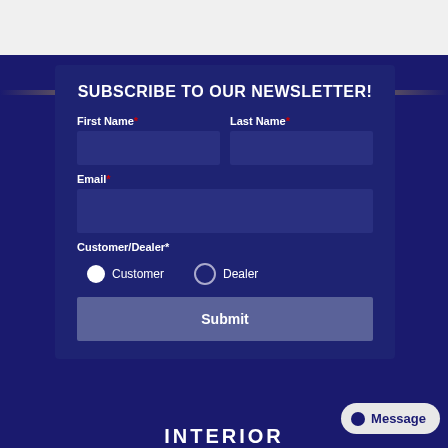SUBSCRIBE TO OUR NEWSLETTER!
First Name* Last Name* Email* Customer/Dealer*
[Figure (screenshot): Newsletter subscription form with fields for First Name, Last Name, Email, Customer/Dealer radio buttons (Customer selected), and a Submit button on a dark navy background.]
INTERIOR
Message